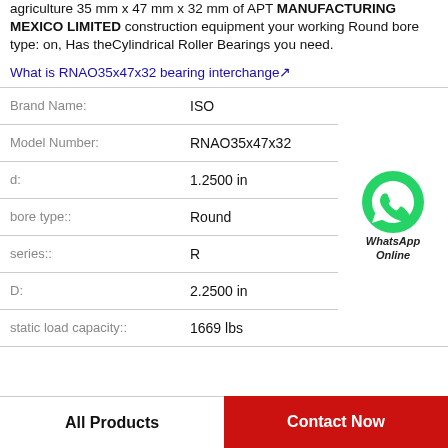agriculture 35 mm x 47 mm x 32 mm of APT MANUFACTURING MEXICO LIMITED construction equipment your working Round bore type: on, Has theCylindrical Roller Bearings you need.
What is RNAO35x47x32 bearing interchange↗
| Field | Value |
| --- | --- |
| Brand Name: | ISO |
| Model Number: | RNAO35x47x32 |
| d: | 1.2500 in |
| bore type:: | Round |
| series:: | R |
| D: | 2.2500 in |
| static load capacity:: | 1669 lbs |
[Figure (logo): WhatsApp Online green phone icon with text WhatsApp Online]
All Products
Contact Now